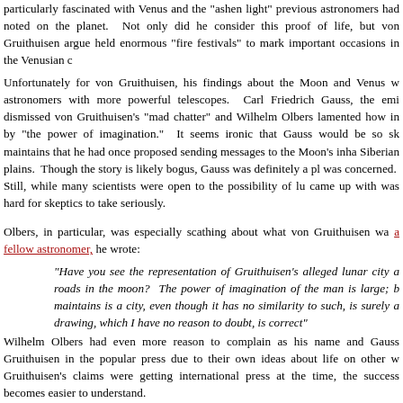particularly fascinated with Venus and the "ashen light" previous astronomers had noted on the planet. Not only did he consider this proof of life, but von Gruithuisen argued that the Venusians held enormous "fire festivals" to mark important occasions in the Venusian calendar.
Unfortunately for von Gruithuisen, his findings about the Moon and Venus were dismissed by astronomers with more powerful telescopes. Carl Friedrich Gauss, the eminent mathematician, dismissed von Gruithuisen's "mad chatter" and Wilhelm Olbers lamented how he had been taken in by "the power of imagination." It seems ironic that Gauss would be so skeptical, as one story maintains that he had once proposed sending messages to the Moon's inhabitants by cutting lines in Siberian plains. Though the story is likely bogus, Gauss was definitely a pluralist where extra life was concerned. Still, while many scientists were open to the possibility of lunar life, what Gruithuisen came up with was hard for skeptics to take seriously.
Olbers, in particular, was especially scathing about what von Gruithuisen was claiming. Writing to a fellow astronomer, he wrote:
"Have you see the representation of Gruithuisen's alleged lunar city and the roads in the moon? The power of imagination of the man is large; but what he maintains is a city, even though it has no similarity to such, is surely a natural drawing, which I have no reason to doubt, is correct"
Wilhelm Olbers had even more reason to complain as his name and Gauss's were linked with Gruithuisen in the popular press due to their own ideas about life on other worlds. Given that Gruithuisen's claims were getting international press at the time, the success of such linkage becomes easier to understand.
But the twilight of the Selenites would arrive soon enough. In an 1834 lecture, Beer demolished the entire notion of Selenites based on his own observations which showed that the Moon had no air, which meant it had no water either. In discussing why the idea of Selenites was so resilient, Beer argued it was due to a romantic preoccupation in finding aliens like ourselves that kept the idea alive. At the same time, more accurate lunar maps became available using far more powerful telescopes than Gruithuisen had. Needless to say, there was no trace of the lunar buildings that Gruithuisen had reported. If anything, the Moon appeared even more airless and lifeless tha